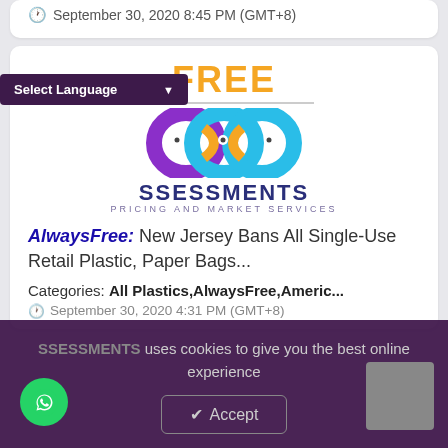September 30, 2020 8:45 PM (GMT+8)
[Figure (logo): FreeAssessments logo with infinity symbol, FREE in orange text, SSESSMENTS in dark blue, PRICING AND MARKET SERVICES subtitle]
AlwaysFree: New Jersey Bans All Single-Use Retail Plastic, Paper Bags...
Categories: All Plastics,AlwaysFree,Americ...
September 30, 2020 4:31 PM (GMT+8)
SSESSMENTS uses cookies to give you the best online experience
Accept